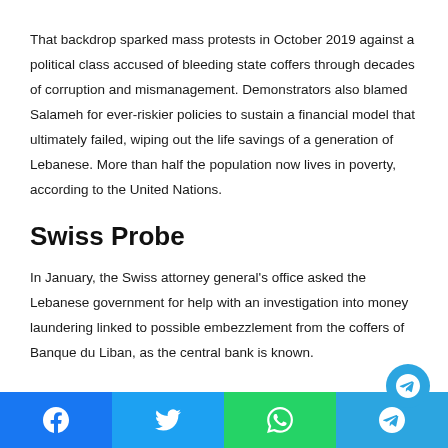That backdrop sparked mass protests in October 2019 against a political class accused of bleeding state coffers through decades of corruption and mismanagement. Demonstrators also blamed Salameh for ever-riskier policies to sustain a financial model that ultimately failed, wiping out the life savings of a generation of Lebanese. More than half the population now lives in poverty, according to the United Nations.
Swiss Probe
In January, the Swiss attorney general's office asked the Lebanese government for help with an investigation into money laundering linked to possible embezzlement from the coffers of Banque du Liban, as the central bank is known.
Facebook | Twitter | WhatsApp | Telegram